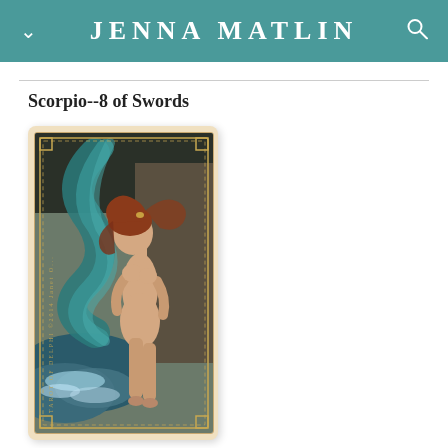JENNA MATLIN
Scorpio--8 of Swords
[Figure (illustration): Tarot card illustration showing a nude female figure with long red hair, surrounded by swirling teal/dark fabric or waves, standing on rocky shore with turbulent water. Card border in tan/gold. Text on left side reads 'TAROT OF DELPHI ©2014 Janet O...' The card has ornate border decoration.]